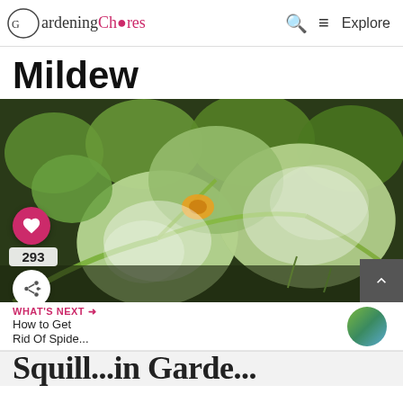Gardening Chores | Q ≡ Explore
Mildew
[Figure (photo): Close-up photo of squash/pumpkin leaves severely affected by powdery mildew, showing white powdery coating on the green leaves, with yellow-orange flowers visible in the background. A pink heart/like button showing 293 likes and a share button are overlaid on the left side.]
WHAT'S NEXT → How to Get Rid Of Spide...
Squill...in Garde...